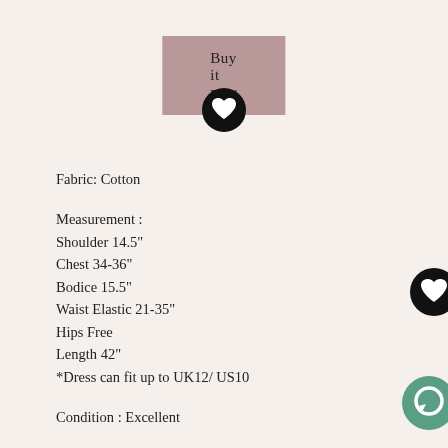[Figure (other): Pink/mauve 'Buy it now' button]
[Figure (other): Black circular heart/favorite icon (top center)]
Fabric: Cotton
Measurement :
Shoulder 14.5"
Chest 34-36"
Bodice 15.5"
Waist Elastic 21-35"
Hips Free
Length 42"
*Dress can fit up to UK12/ US10
Condition : Excellent
Model: Tern
Chest 34.5"
Waist 29"
[Figure (other): Black circular heart/favorite icon (right side)]
[Figure (other): Green circular chat/message icon (bottom right)]